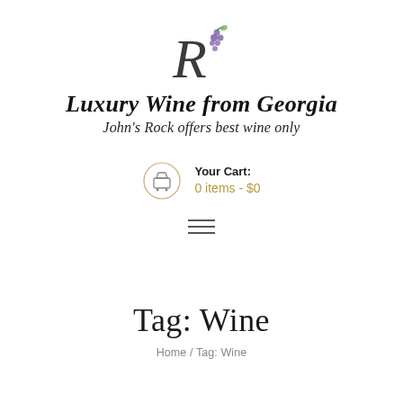[Figure (logo): Decorative R letter with grape cluster, logo for Luxury Wine from Georgia / John's Rock]
Luxury Wine from Georgia
John's Rock offers best wine only
Your Cart:
0 items - $0
[Figure (other): Hamburger menu icon (three horizontal lines)]
Tag: Wine
Home / Tag: Wine